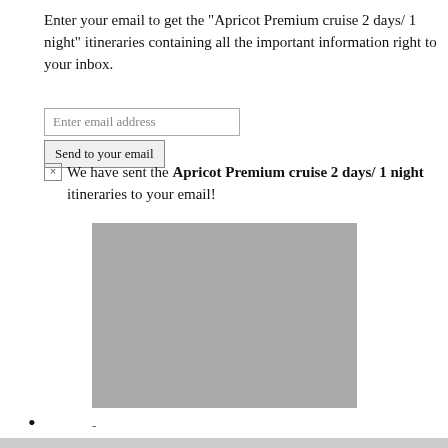Enter your email to get the "Apricot Premium cruise 2 days/ 1 night" itineraries containing all the important information right to your inbox.
Enter email address
Send to your email
× We have sent the Apricot Premium cruise 2 days/ 1 night itineraries to your email!
[Figure (photo): Gray placeholder image block]
•
-